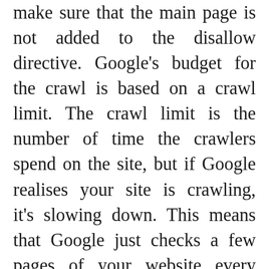make sure that the main page is not added to the disallow directive. Google's budget for the crawl is based on a crawl limit. The crawl limit is the number of time the crawlers spend on the site, but if Google realises your site is crawling, it's slowing down. This means that Google just checks a few pages of your website every time it sends crawler and your most current post takes time to index. To remove this limitation you need a sitemap and a robots.txt file on your website. These